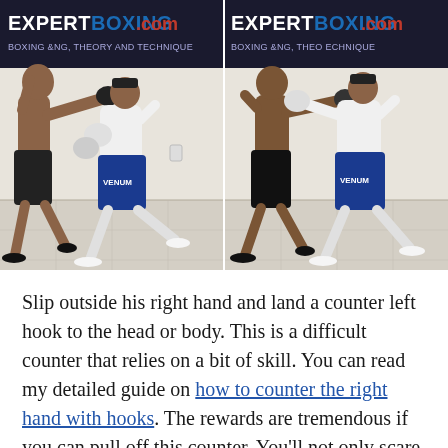[Figure (photo): Two side-by-side photos from ExpertBoxing.com showing two boxers demonstrating a slip outside the right hand and counter left hook technique. Left photo shows a shirtless boxer throwing a right hand while his opponent in white shirt and blue Venum shorts slips outside and prepares to counter. Right photo shows the same technique from a different angle.]
Slip outside his right hand and land a counter left hook to the head or body. This is a difficult counter that relies on a bit of skill. You can read my detailed guide on how to counter the right hand with hooks. The rewards are tremendous if you can pull off this counter. You'll not only scare him from throwing right